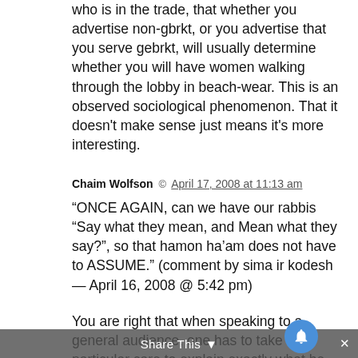who is in the trade, that whether you advertise non-gbrkt, or you advertise that you serve gebrkt, will usually determine whether you will have women walking through the lobby in beach-wear. This is an observed sociological phenomenon. That it doesn't make sense just means it's more interesting.
Chaim Wolfson © April 17, 2008 at 11:13 am
“ONCE AGAIN, can we have our rabbis “Say what they mean, and Mean what they say?”, so that hamon ha’am does not have to ASSUME.” (comment by sima ir kodesh — April 16, 2008 @ 5:42 pm)
You are right that when speaking to a general audience, one has to take particular care to explain exactly what he means. But the Rabbi
Share This